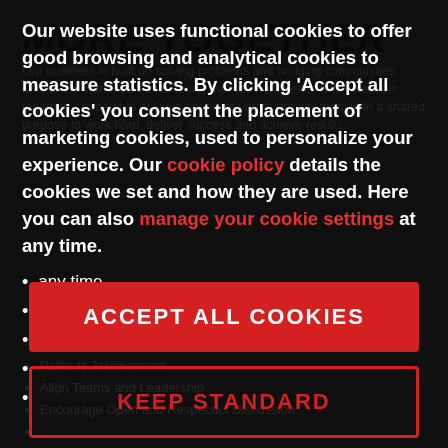MORE TOGETHER
Our business is built on solving problems and bridging communities across the world, so it's no secret that we work better when we work together. Leadership at Hyva connects you to greater team with a shared purpose to work hard, deliver success and achieve results.
Our website uses functional cookies to offer good browsing and analytical cookies to measure statistics. By clicking 'Accept all cookies' you consent the placement of marketing cookies, used to personalize your experience. Our cookie policy details the cookies we set and how they are used. Here you can also manage your cookie settings at any time.
Paths to Achievement
Align Teams and Leadership
Encourage Open and Respectful Discussion
ACCEPT ALL COOKIES
KEEP STANDARD